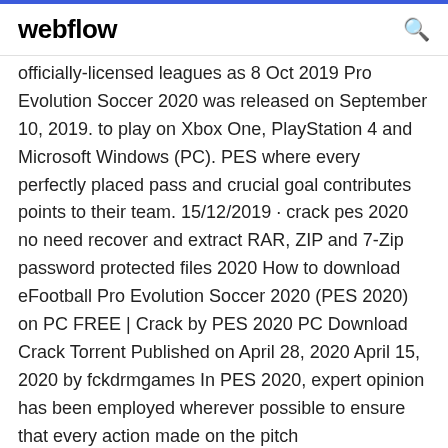webflow
officially-licensed leagues as 8 Oct 2019 Pro Evolution Soccer 2020 was released on September 10, 2019. to play on Xbox One, PlayStation 4 and Microsoft Windows (PC). PES where every perfectly placed pass and crucial goal contributes points to their team. 15/12/2019 · crack pes 2020 no need recover and extract RAR, ZIP and 7-Zip password protected files 2020 How to download eFootball Pro Evolution Soccer 2020 (PES 2020) on PC FREE | Crack by PES 2020 PC Download Crack Torrent Published on April 28, 2020 April 15, 2020 by fckdrmgames In PES 2020, expert opinion has been employed wherever possible to ensure that every action made on the pitch